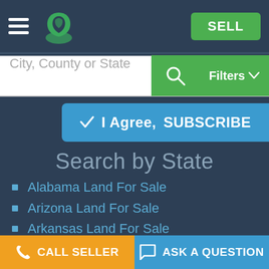Navigation bar with hamburger menu, logo, and SELL button
City, County or State
Filters
✓ I Agree, SUBSCRIBE
Search by State
Alabama Land For Sale
Arizona Land For Sale
Arkansas Land For Sale
California Land For Sale
Colorado Land For Sale
CALL SELLER   ASK A QUESTION